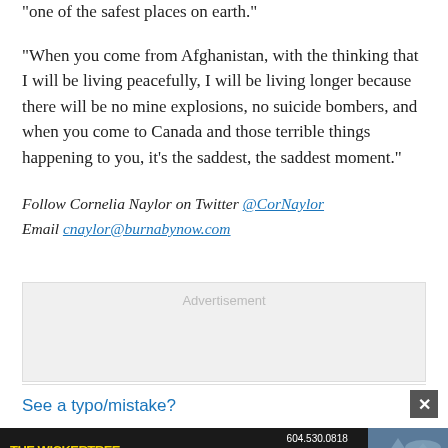“one of the safest places on earth.”
“When you come from Afghanistan, with the thinking that I will be living peacefully, I will be living longer because there will be no mine explosions, no suicide bombers, and when you come to Canada and those terrible things happening to you, it’s the saddest, the saddest moment.”
Follow Cornelia Naylor on Twitter @CorNaylor
Email cnaylor@burnabynow.com
[Figure (other): Advertisement placeholder box with grey background]
See a typo/mistake?
[Figure (other): The Wickertree Home & Patio advertisement banner. Shows logo, phone number 604.530.0818, address 102-20460 Langley Bypass, Langley, and a mountain/lake photo.]